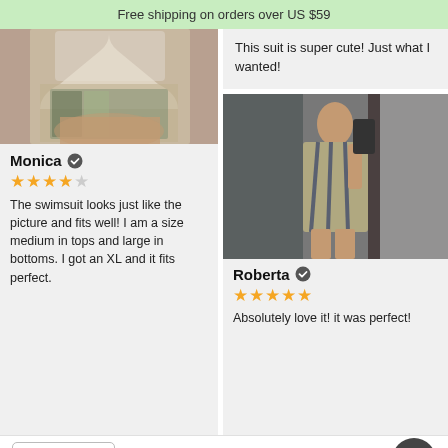Free shipping on orders over US $59
[Figure (photo): Photo of a swimsuit on a hanger, partially visible, close-up shot]
Monica ✓
★★★★☆ (4 out of 5 stars)
The swimsuit looks just like the picture and fits well! I am a size medium in tops and large in bottoms. I got an XL and it fits perfect.
This suit is super cute! Just what I wanted!
[Figure (photo): Mirror selfie of a person wearing a striped one-piece swimsuit, taken in a dressing room]
Roberta ✓
★★★★★ (5 out of 5 stars)
Absolutely love it!  it was perfect!
USD
[Figure (illustration): Scroll to top button with up arrow]